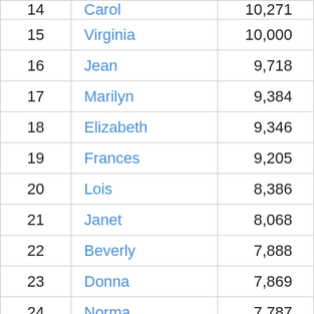| Rank | Name | Count |
| --- | --- | --- |
| 14 | Carol | 10,271 |
| 15 | Virginia | 10,000 |
| 16 | Jean | 9,718 |
| 17 | Marilyn | 9,384 |
| 18 | Elizabeth | 9,346 |
| 19 | Frances | 9,205 |
| 20 | Lois | 8,386 |
| 21 | Janet | 8,068 |
| 22 | Beverly | 7,888 |
| 23 | Donna | 7,869 |
| 24 | Norma | 7,787 |
| 25 | Alice | 7,784 |